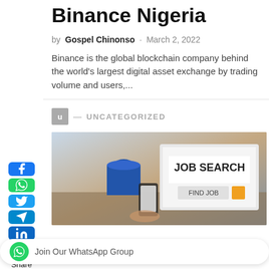Binance Nigeria
by Gospel Chinonso · March 2, 2022
Binance is the global blockchain company behind the world's largest digital asset exchange by trading volume and users,...
U — UNCATEGORIZED
[Figure (photo): Job search image showing a laptop with 'JOB SEARCH' and 'FIND JOB' on screen, a blue mug, and a person holding a smartphone]
Join Our WhatsApp Group